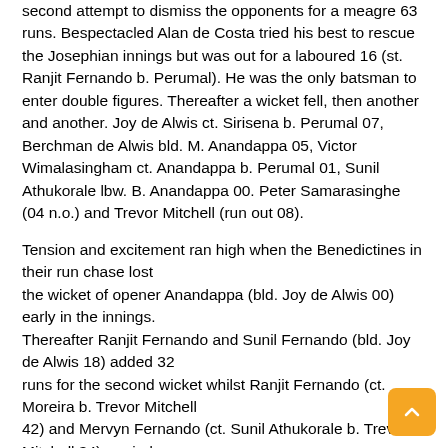second attempt to dismiss the opponents for a meagre 63 runs. Bespectacled Alan de Costa tried his best to rescue the Josephian innings but was out for a laboured 16 (st. Ranjit Fernando b. Perumal). He was the only batsman to enter double figures. Thereafter a wicket fell, then another and another. Joy de Alwis ct. Sirisena b. Perumal 07, Berchman de Alwis bld. M. Anandappa 05, Victor Wimalasingham ct. Anandappa b. Perumal 01, Sunil Athukorale lbw. B. Anandappa 00. Peter Samarasinghe (04 n.o.) and Trevor Mitchell (run out 08).
Tension and excitement ran high when the Benedictines in their run chase lost the wicket of opener Anandappa (bld. Joy de Alwis 00) early in the innings. Thereafter Ranjit Fernando and Sunil Fernando (bld. Joy de Alwis 18) added 32 runs for the second wicket whilst Ranjit Fernando (ct. Moreira b. Trevor Mitchell 42) and Mervyn Fernando (ct. Sunil Athukorale b. Trevor Mitchell 34) carried the total to 87, just 13 runs away from the victory. The Ceylon Schools